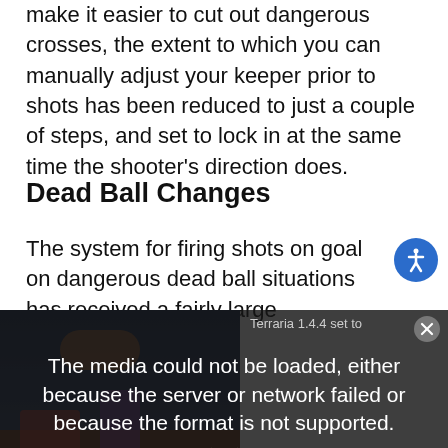make it easier to cut out dangerous crosses, the extent to which you can manually adjust your keeper prior to shots has been reduced to just a couple of steps, and set to lock in at the same time the shooter's direction does.
Dead Ball Changes
The system for firing shots on goal on dangerous dead ball situations has received a fairly large
[Figure (screenshot): Video player showing error overlay: 'The media could not be loaded, either because the server or network failed or because the format is not supported.' with an X dismiss button. A 'Terraria 1.4.4 set to' label is partially visible. A dark background with game imagery is behind the overlay.]
keep it low to the ground. X is for when you want to blast a shot under the wall.
Control over the ball's movement is increased as